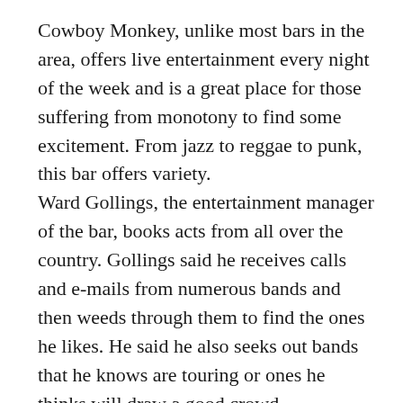Cowboy Monkey, unlike most bars in the area, offers live entertainment every night of the week and is a great place for those suffering from monotony to find some excitement. From jazz to reggae to punk, this bar offers variety. Ward Gollings, the entertainment manager of the bar, books acts from all over the country. Gollings said he receives calls and e-mails from numerous bands and then weeds through them to find the ones he likes. He said he also seeks out bands that he knows are touring or ones he thinks will draw a good crowd. Gollings said he looks at all types of groups because they want to appeal to all types of people. While